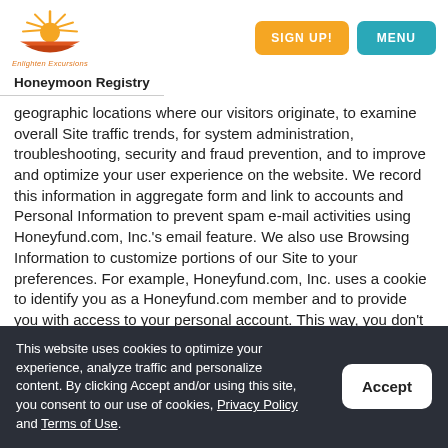[Figure (logo): Enlighten Excursions logo with sun and waves graphic and orange/red text]
Honeymoon Registry
geographic locations where our visitors originate, to examine overall Site traffic trends, for system administration, troubleshooting, security and fraud prevention, and to improve and optimize your user experience on the website. We record this information in aggregate form and link to accounts and Personal Information to prevent spam e-mail activities using Honeyfund.com, Inc.'s email feature. We also use Browsing Information to customize portions of our Site to your preferences. For example, Honeyfund.com, Inc. uses a cookie to identify you as a Honeyfund.com member and to provide you with access to your personal account. This way, you don't
This website uses cookies to optimize your experience, analyze traffic and personalize content. By clicking Accept and/or using this site, you consent to our use of cookies, Privacy Policy and Terms of Use.